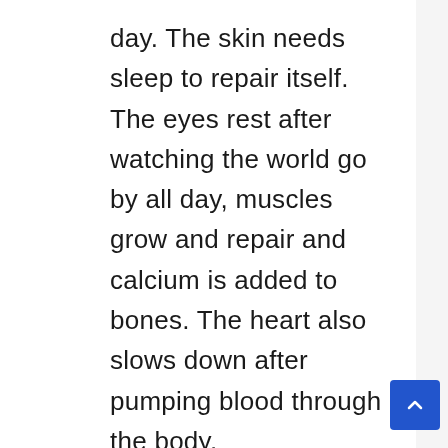day. The skin needs sleep to repair itself. The eyes rest after watching the world go by all day, muscles grow and repair and calcium is added to bones. The heart also slows down after pumping blood through the body.
Sleep is a necessary part of life. When the body is younger, it needs more sleep. Children in school need 10 to 11 hours of sleep every night. It then lessens to nine hours of sleep for teenagers, and eight for adults. However, average teenagers and adults attain less sleep than the